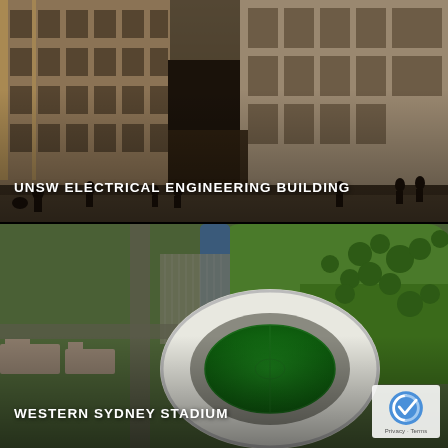[Figure (photo): Architectural rendering of the UNSW Electrical Engineering Building exterior showing a modern multi-story building with brick and glass facade, with pedestrians walking at ground level]
UNSW ELECTRICAL ENGINEERING BUILDING
[Figure (photo): Aerial view of Western Sydney Stadium showing the oval stadium with a green pitch surrounded by parking areas, greenery, and roads]
WESTERN SYDNEY STADIUM